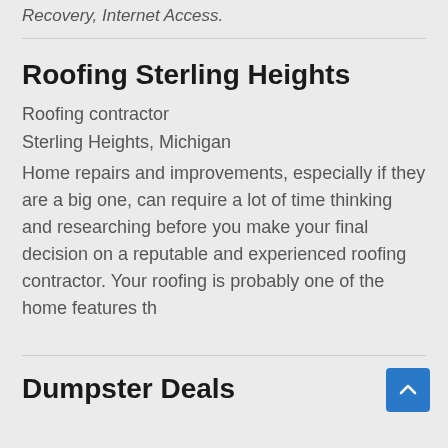Recovery, Internet Access.
Roofing Sterling Heights
Roofing contractor
Sterling Heights, Michigan
Home repairs and improvements, especially if they are a big one, can require a lot of time thinking and researching before you make your final decision on a reputable and experienced roofing contractor. Your roofing is probably one of the home features th
Dumpster Deals